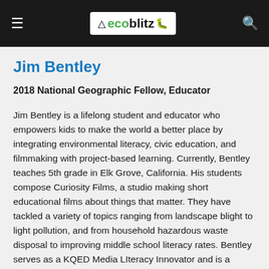ecoblitz
Jim Bentley
2018 National Geographic Fellow, Educator
Jim Bentley is a lifelong student and educator who empowers kids to make the world a better place by integrating environmental literacy, civic education, and filmmaking with project-based learning. Currently, Bentley teaches 5th grade in Elk Grove, California. His students compose Curiosity Films, a studio making short educational films about things that matter. They have tackled a variety of topics ranging from landscape blight to light pollution, and from household hazardous waste disposal to improving middle school literacy rates. Bentley serves as a KQED Media LIteracy Innovator and is a National